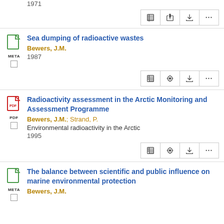1971
Sea dumping of radioactive wastes
Bewers, J.M.
1987
Radioactivity assessment in the Arctic Monitoring and Assessment Programme
Bewers, J.M.; Strand, P.
Environmental radioactivity in the Arctic
1995
The balance between scientific and public influence on marine environmental protection
Bewers, J.M.